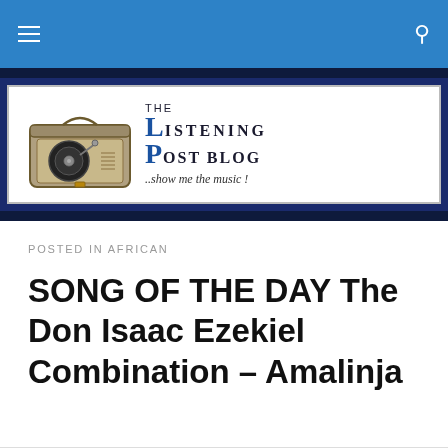The Listening Post Blog - navigation bar with hamburger menu and search icon
[Figure (logo): The Listening Post Blog logo: illustration of a vintage suitcase record player on the left, text 'THE LISTENING POST BLOG ..show me the music!' on the right in bold serif font with blue accents]
POSTED IN AFRICAN
SONG OF THE DAY The Don Isaac Ezekiel Combination – Amalinja